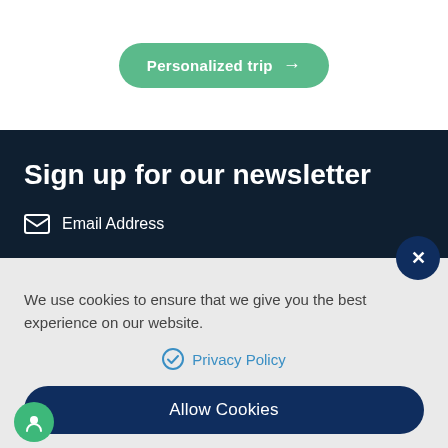[Figure (screenshot): Green rounded button labeled 'Personalized trip' with arrow]
Sign up for our newsletter
Email Address
We use cookies to ensure that we give you the best experience on our website.
Privacy Policy
Allow Cookies